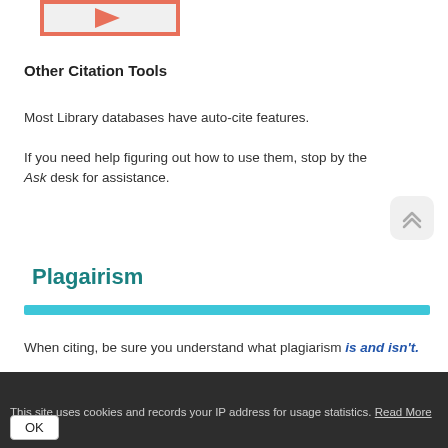[Figure (illustration): Partial view of a video thumbnail with salmon/coral border and play button, cropped at top]
Other Citation Tools
Most Library databases have auto-cite features.
If you need help figuring out how to use them, stop by the Ask desk for assistance.
Plagairism
When citing, be sure you understand what plagiarism is and isn't.
This site uses cookies and records your IP address for usage statistics. Read More  OK